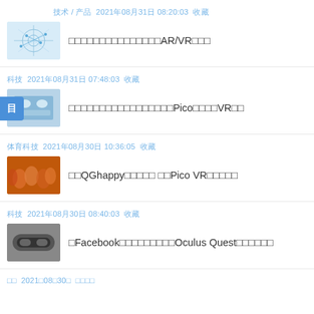技术 / 产品  2021年08月31日 08:20:03  收藏
□□□□□□□□□□□□□□□AR/VR□□□
科技  2021年08月31日 07:48:03  收藏
□□□□□□□□□□□□□□□□□Pico□□□□VR□□
体育科技  2021年08月30日 10:36:05  收藏
□□QGhappy□□□□□ □□Pico VR□□□□□
科技  2021年08月30日 08:40:03  收藏
□Facebook□□□□□□□□□Oculus Quest□□□□□□
□□  2021□08□30□ □□□□